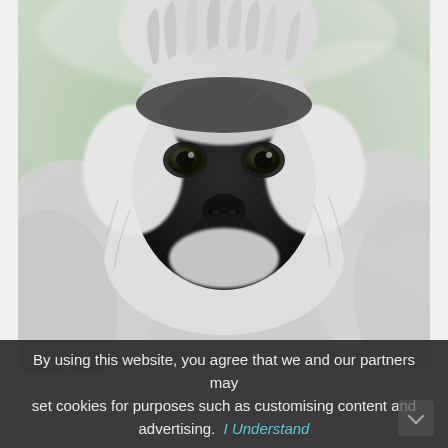[Figure (photo): Close-up photograph of a gray langur monkey (Semnopithecus) with a black face surrounded by white/gray fur, looking directly at the camera with a slightly upward gaze. Background is a soft blurred green and white tones. The monkey has distinctive dark eyes, a black nose, and prominent white fluffy fur around its face and shoulders.]
By using this website, you agree that we and our partners may set cookies for purposes such as customising content and advertising.  I Understand